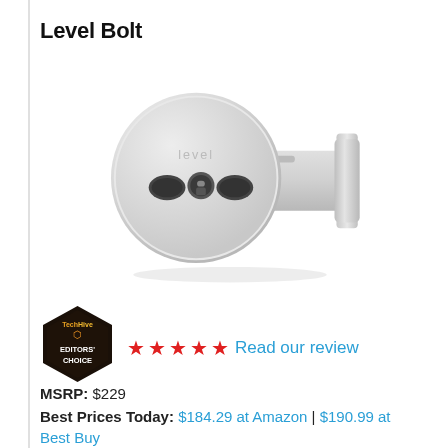Level Bolt
[Figure (photo): Product photo of the Level Bolt smart lock — a circular silver deadbolt mechanism with 'level' engraved on top, two oval holes and a round keyhole on the front face, connected to a cylindrical shaft with a rectangular mounting plate on the right end.]
[Figure (logo): TechHive Editors' Choice hexagonal badge in dark brown/black with orange honeycomb icon]
★★★★★ Read our review
MSRP: $229
Best Prices Today: $184.29 at Amazon | $190.99 at Best Buy